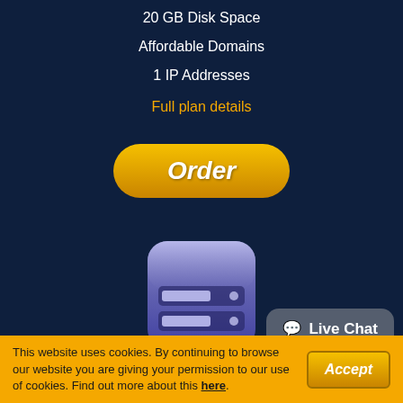20 GB Disk Space
Affordable Domains
1 IP Addresses
Full plan details
[Figure (other): Orange rounded Order button]
[Figure (illustration): Server/VPS hosting icon - rounded square with purple-blue gradient and two server rack icons]
KVM 16
VPS Hosting
$96.00
(per month)
Live Chat
This website uses cookies. By continuing to browse our website you are giving your permission to our use of cookies. Find out more about this here.